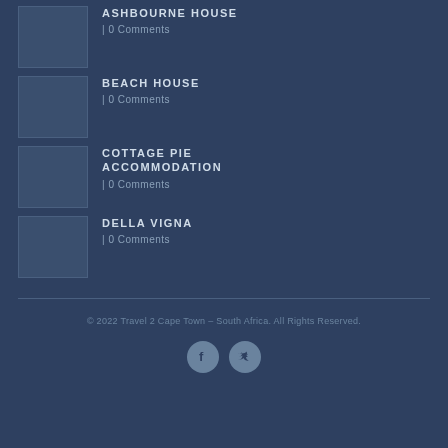ASHBOURNE HOUSE | 0 Comments
BEACH HOUSE | 0 Comments
COTTAGE PIE ACCOMMODATION | 0 Comments
DELLA VIGNA | 0 Comments
© 2022 Travel 2 Cape Town – South Africa. All Rights Reserved.
[Figure (illustration): Facebook and Twitter social media icons (circular, grey)]